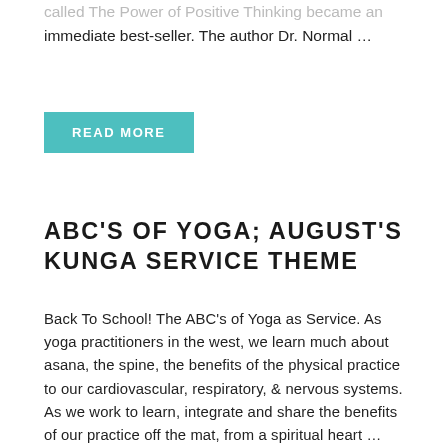called The Power of Positive Thinking became an immediate best-seller. The author Dr. Normal …
READ MORE
ABC'S OF YOGA; AUGUST'S KUNGA SERVICE THEME
Back To School! The ABC's of Yoga as Service. As yoga practitioners in the west, we learn much about asana, the spine, the benefits of the physical practice to our cardiovascular, respiratory, & nervous systems. As we work to learn, integrate and share the benefits of our practice off the mat, from a spiritual heart …
READ MORE
10 MINUTES OF PRANAYAMA; JULY'S KUNGA THEME